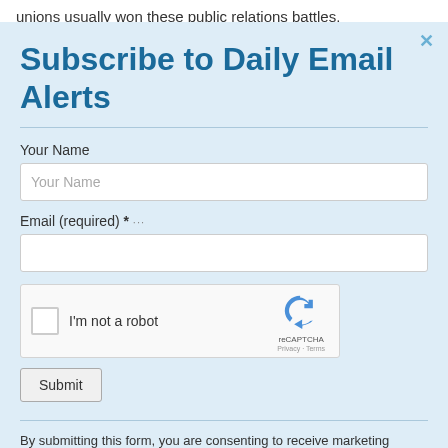unions usually won these public relations battles. Children were prompted and coached to go to
Subscribe to Daily Email Alerts
Your Name
Email (required) *
[Figure (other): reCAPTCHA widget with checkbox labeled 'I'm not a robot' and reCAPTCHA logo with Privacy - Terms links]
Submit
By submitting this form, you are consenting to receive marketing emails from: News With Views, P.O. Box 990, Spring Branch, TX, 78070-9998,